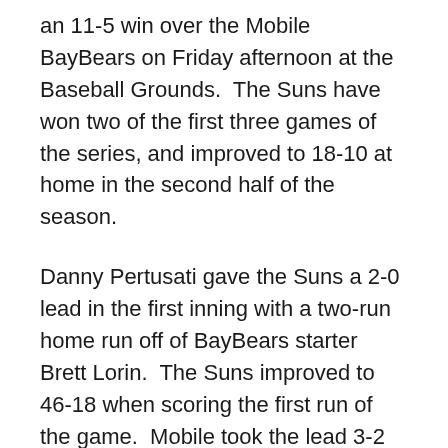an 11-5 win over the Mobile BayBears on Friday afternoon at the Baseball Grounds.  The Suns have won two of the first three games of the series, and improved to 18-10 at home in the second half of the season.
Danny Pertusati gave the Suns a 2-0 lead in the first inning with a two-run home run off of BayBears starter Brett Lorin.  The Suns improved to 46-18 when scoring the first run of the game.  Mobile took the lead 3-2 in the top half of the second with a two-out rally, with Brett Lorin driving in two of the runs with a single to center and Wladimir Sutil driving in another with his 14th double of the season.  The Suns tied game 3-3 in the bottom of the second, when Alfredo Lopez walked and scored on Jake Smolinski's single up the middle.